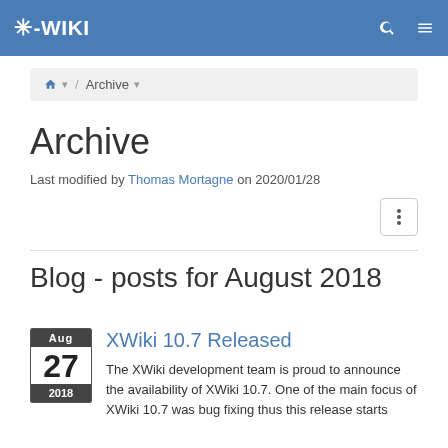XWiki
Home / Archive
Archive
Last modified by Thomas Mortagne on 2020/01/28
Blog - posts for August 2018
Aug 27 2018 | XWiki 10.7 Released — The XWiki development team is proud to announce the availability of XWiki 10.7. One of the main focus of XWiki 10.7 was bug fixing thus this release starts